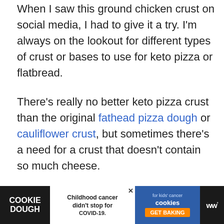When I saw this ground chicken crust on social media, I had to give it a try. I'm always on the lookout for different types of crust or bases to use for keto pizza or flatbread.
There's really no better keto pizza crust than the original fathead pizza dough or cauliflower crust, but sometimes there's a need for a crust that doesn't contain so much cheese.
I didn't want to be influenced by other recipes, so I put together what I thought would make the best... first
[Figure (other): Cookie Dough advertisement banner featuring 'Childhood cancer didn't stop for COVID-19' with cookies for kids' cancer GET BAKING button and WW logo]